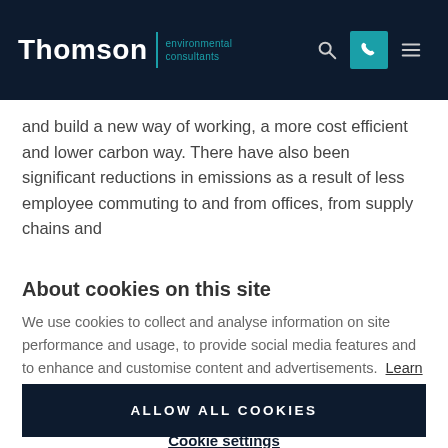Thomson environmental consultants
and build a new way of working, a more cost efficient and lower carbon way. There have also been significant reductions in emissions as a result of less employee commuting to and from offices, from supply chains and [truncated]
About cookies on this site
We use cookies to collect and analyse information on site performance and usage, to provide social media features and to enhance and customise content and advertisements. Learn more
ALLOW ALL COOKIES
Cookie settings